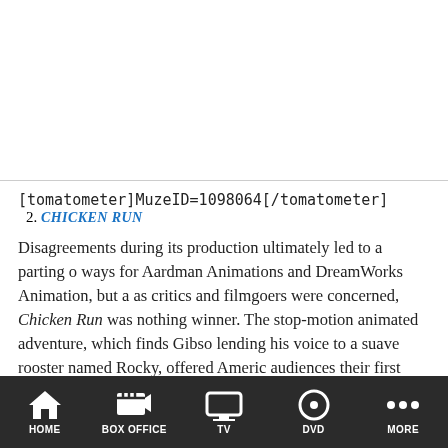[tomatometer]MuzeID=1098064[/tomatometer]
2. CHICKEN RUN
Disagreements during its production ultimately led to a parting of ways for Aardman Animations and DreamWorks Animation, but as far as critics and filmgoers were concerned, Chicken Run was nothing but a winner. The stop-motion animated adventure, which finds Gibson lending his voice to a suave rooster named Rocky, offered American audiences their first opportunity to get an extended look at the distinctive style of Nick Park and his cohorts — and it gave Gibson a chance to add another kid-friendly entry to a rather dark filmography. (Gibson's previous foray into animation, 1995's Pocahontas, left c
HOME   BOX OFFICE   TV   DVD   MORE